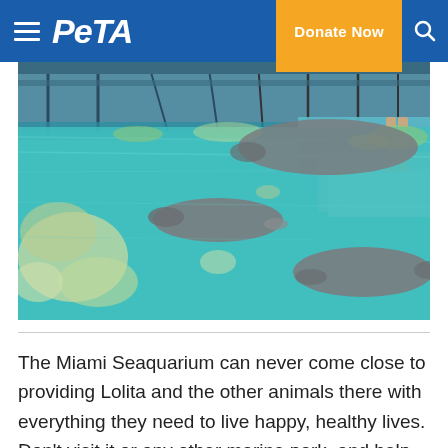PETA — Donate Now
[Figure (photo): Manatees swimming in a shallow turquoise pool at the Miami Seaquarium. Debris and algae float on the surface. Structural elements and a visitor are visible in the background.]
The Miami Seaquarium can never come close to providing Lolita and the other animals there with everything they need to live happy, healthy lives. Don't visit it or any other marine park, and help Lolita by urging the Miami Seaquarium's parent company to retire her to a seaside